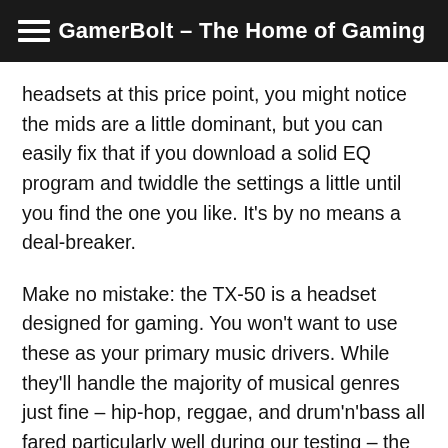GamerBolt – The Home of Gaming
headsets at this price point, you might notice the mids are a little dominant, but you can easily fix that if you download a solid EQ program and twiddle the settings a little until you find the one you like. It's by no means a deal-breaker.
Make no mistake: the TX-50 is a headset designed for gaming. You won't want to use these as your primary music drivers. While they'll handle the majority of musical genres just fine – hip-hop, reggae, and drum'n'bass all fared particularly well during our testing – the soundscape here isn't subtle. Using these to listen to acoustic music like folk or lighter indie won't fly for extended periods of time, at least when compared to higher-end alternatives. That said, if you only intend to use it for the occasional song or